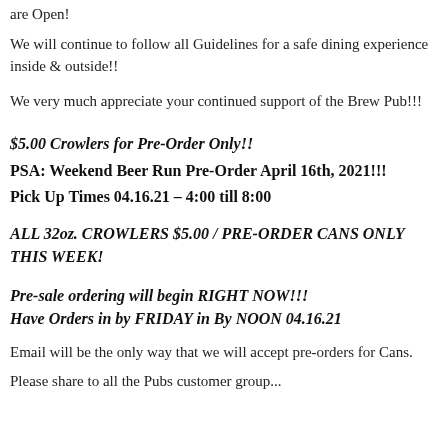are Open!
We will continue to follow all Guidelines for a safe dining experience inside & outside!!
We very much appreciate your continued support of the Brew Pub!!!
$5.00 Crowlers for Pre-Order Only!!
PSA: Weekend Beer Run Pre-Order April 16th, 2021!!!
Pick Up Times 04.16.21 – 4:00 till 8:00
ALL 32oz. CROWLERS $5.00 / PRE-ORDER CANS ONLY THIS WEEK!
Pre-sale ordering will begin RIGHT NOW!!!
Have Orders in by FRIDAY in By NOON 04.16.21
Email will be the only way that we will accept pre-orders for Cans.
Please share to all the Pubs customer group...